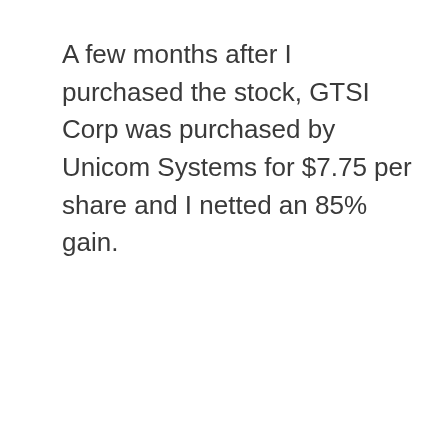A few months after I purchased the stock, GTSI Corp was purchased by Unicom Systems for $7.75 per share and I netted an 85% gain.